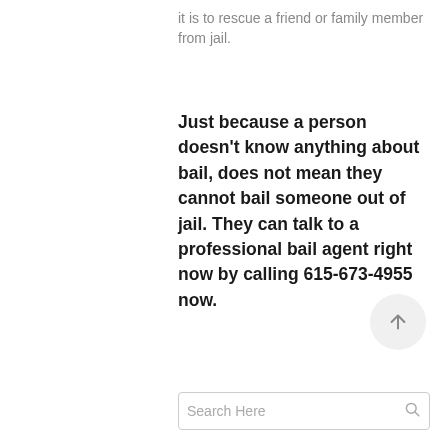it is to rescue a friend or family member from jail.
Just because a person doesn't know anything about bail, does not mean they cannot bail someone out of jail. They can talk to a professional bail agent right now by calling 615-673-4955 now.
[Figure (other): Scroll-to-top button: circular light grey button with upward arrow icon]
Search Here